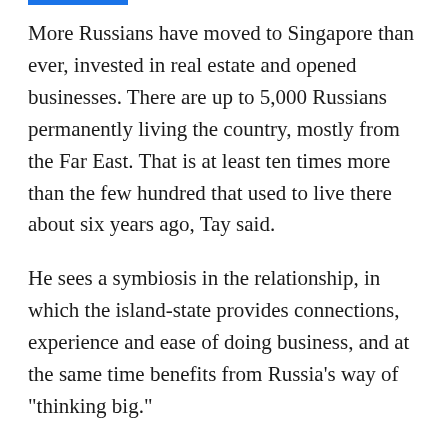More Russians have moved to Singapore than ever, invested in real estate and opened businesses. There are up to 5,000 Russians permanently living the country, mostly from the Far East. That is at least ten times more than the few hundred that used to live there about six years ago, Tay said.
He sees a symbiosis in the relationship, in which the island-state provides connections, experience and ease of doing business, and at the same time benefits from Russia's way of "thinking big."
Before Singaporeans were suspicious of anything Russian, but now there is a Russian "fever." A new high-end Russian restaurant with iPad menus, called